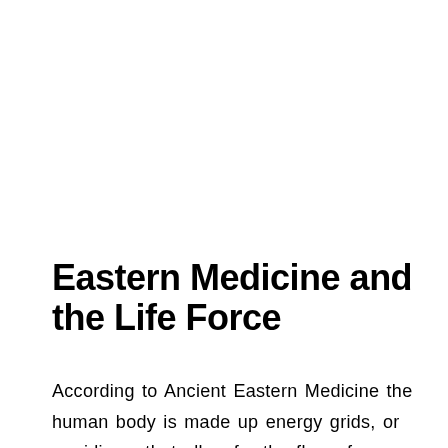Eastern Medicine and the Life Force
According to Ancient Eastern Medicine the human body is made up energy grids, or meridians, that allow for the flow of energy,